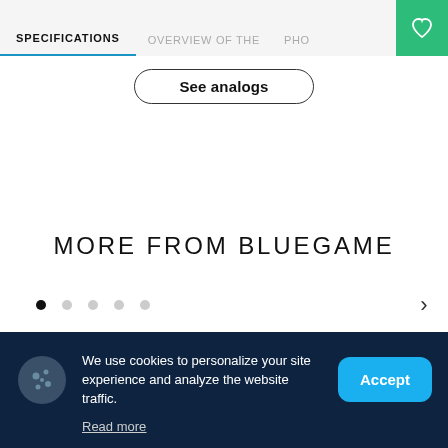SPECIFICATIONS | OVERVIEW OF THE | PHO
See analogs
MORE FROM BLUEGAME
[Figure (other): Carousel navigation dots (1 filled, 4 empty) and right arrow]
[Figure (other): Gray card/image placeholder area]
We use cookies to personalize your site experience and analyze the website traffic.
Read more
Accept